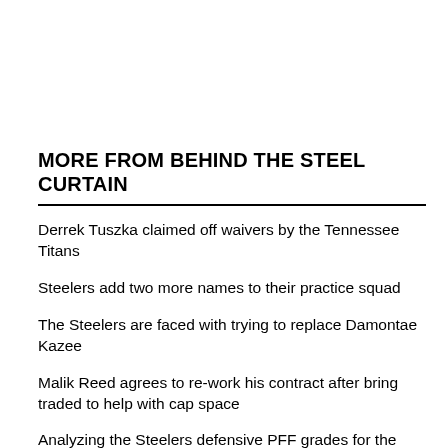MORE FROM BEHIND THE STEEL CURTAIN
Derrek Tuszka claimed off waivers by the Tennessee Titans
Steelers add two more names to their practice squad
The Steelers are faced with trying to replace Damontae Kazee
Malik Reed agrees to re-work his contract after bring traded to help with cap space
Analyzing the Steelers defensive PFF grades for the 2022 preseason
If the preseason is any indication, the Steelers will have to continue winning ugly